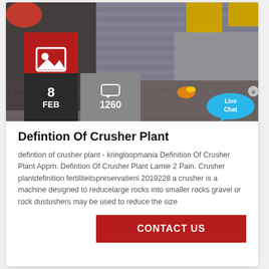[Figure (photo): Industrial machinery photo showing metal cutting/sparking equipment with yellow and red components, worker visible]
8 FEB
1260
Defintion Of Crusher Plant
defintion of crusher plant - kringloopmania Definition Of Crusher Plant Appm. Defintion Of Crusher Plant Lamie 2 Pain. Crusher plantdefinition fertiliteitspreservatienl 2019228 a crusher is a machine designed to reducelarge rocks into smaller rocks gravel or rock dustushers may be used to reduce the size
CONTACT US